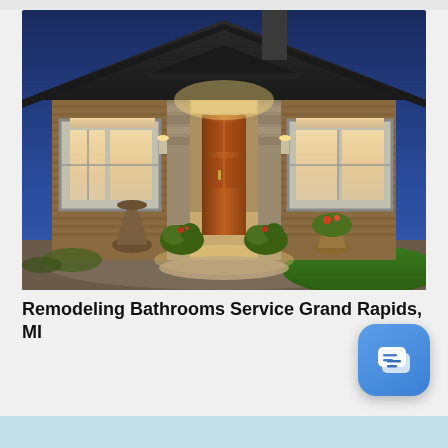[Figure (photo): Exterior photo of a modern luxury home at dusk/night with warm interior lighting. The house features a prominent wooden front door flanked by stone pillars, large multi-pane windows, wood siding, landscaped plants and flower pots, a decorative urn, and a curved driveway with green lawn.]
Remodeling Bathrooms Service Grand Rapids, MI
[Figure (screenshot): Blue rounded square chat/messaging button icon in the bottom right corner of the page.]